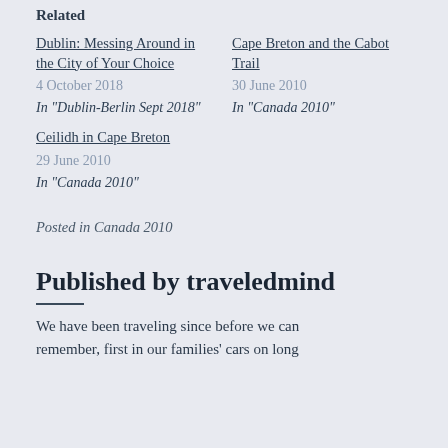Related
Dublin: Messing Around in the City of Your Choice
4 October 2018
In "Dublin-Berlin Sept 2018"
Cape Breton and the Cabot Trail
30 June 2010
In "Canada 2010"
Ceilidh in Cape Breton
29 June 2010
In "Canada 2010"
Posted in Canada 2010
Published by traveledmind
We have been traveling since before we can remember, first in our families' cars on long